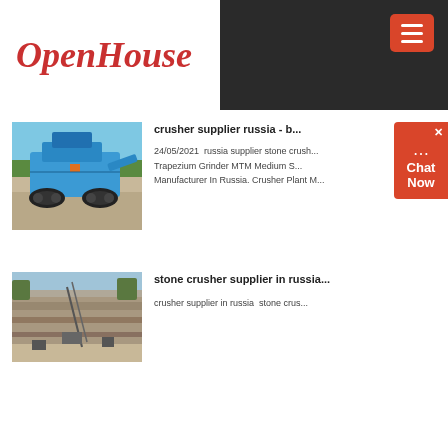OpenHouse
[Figure (photo): Blue mobile crusher/screening machine on a gravel site outdoors]
crusher supplier russia - b...
24/05/2021  russia supplier stone crush... Trapezium Grinder MTM Medium S... Manufacturer In Russia. Crusher Plant M...
[Figure (photo): Quarry site with rocky cliffs and excavation equipment]
stone crusher supplier in russia...
crusher supplier in russia  stone crus...